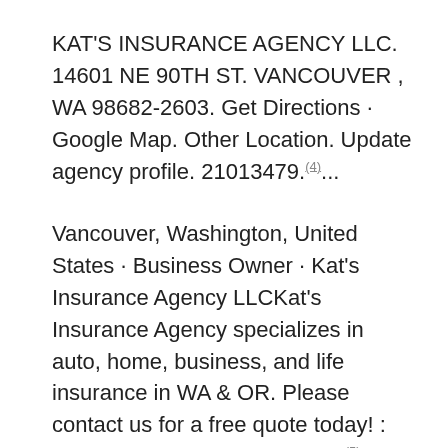KAT'S INSURANCE AGENCY LLC. 14601 NE 90TH ST. VANCOUVER , WA 98682-2603. Get Directions · Google Map. Other Location. Update agency profile. 21013479.(4)...
Vancouver, Washington, United States · Business Owner · Kat's Insurance Agency LLCKat's Insurance Agency specializes in auto, home, business, and life insurance in WA & OR. Please contact us for a free quote today! : 360-909-9082, Katsagency@ (5)...